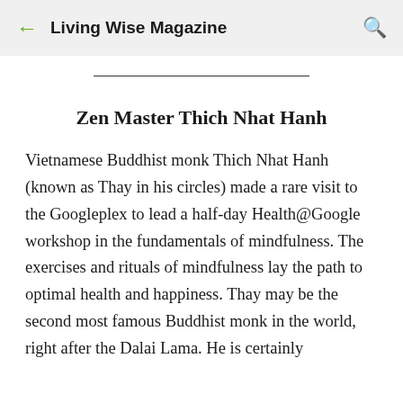Living Wise Magazine
Zen Master Thich Nhat Hanh
Vietnamese Buddhist monk Thich Nhat Hanh (known as Thay in his circles) made a rare visit to the Googleplex to lead a half-day Health@Google workshop in the fundamentals of mindfulness. The exercises and rituals of mindfulness lay the path to optimal health and happiness. Thay may be the second most famous Buddhist monk in the world, right after the Dalai Lama. He is certainly